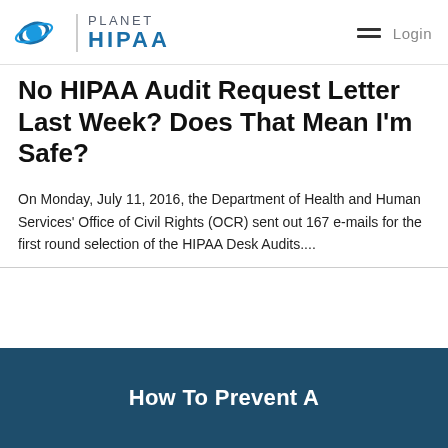Planet HIPAA — Login
No HIPAA Audit Request Letter Last Week? Does That Mean I'm Safe?
On Monday, July 11, 2016, the Department of Health and Human Services' Office of Civil Rights (OCR) sent out 167 e-mails for the first round selection of the HIPAA Desk Audits....
[Figure (other): Dark blue promotional card with white bold text reading 'How To Prevent A']